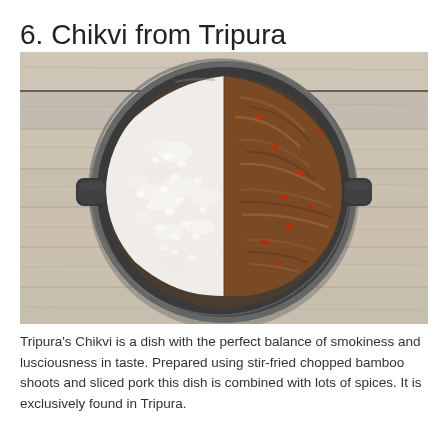6. Chikvi from Tripura
[Figure (photo): Overhead view of a dark cast iron pan containing white rice on the left half and shredded pulled pork with red peppers on the right half, placed on a weathered wooden surface.]
Tripura's Chikvi is a dish with the perfect balance of smokiness and lusciousness in taste. Prepared using stir-fried chopped bamboo shoots and sliced pork this dish is combined with lots of spices. It is exclusively found in Tripura.